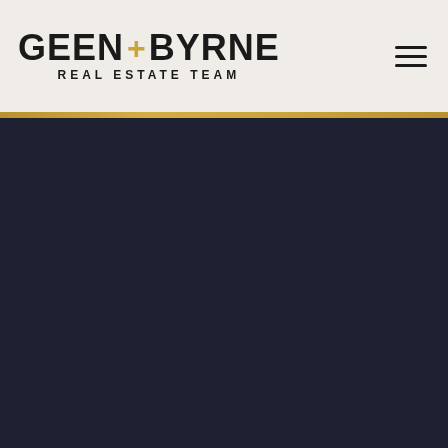GEEN + BYRNE REAL ESTATE TEAM
[Figure (other): Dark navy background main content area filling bottom 3/4 of page]